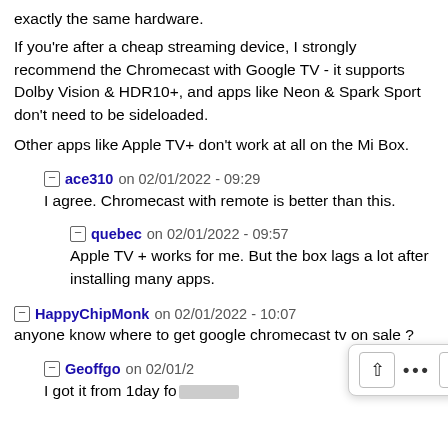exactly the same hardware.
If you're after a cheap streaming device, I strongly recommend the Chromecast with Google TV - it supports Dolby Vision & HDR10+, and apps like Neon & Spark Sport don't need to be sideloaded.
Other apps like Apple TV+ don't work at all on the Mi Box.
ace310 on 02/01/2022 - 09:29
I agree. Chromecast with remote is better than this.
quebec on 02/01/2022 - 09:57
Apple TV + works for me. But the box lags a lot after installing many apps.
HappyChipMonk on 02/01/2022 - 10:07
anyone know where to get google chromecast tv on sale ?
Geoffgo on 02/01/2...
I got it from 1day for ???.